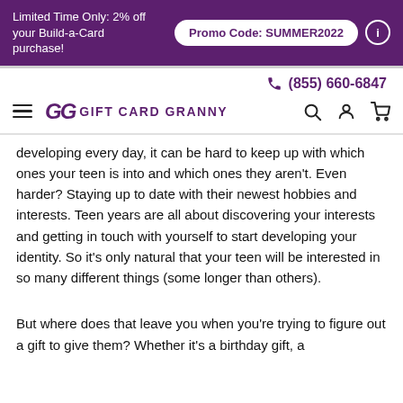Limited Time Only: 2% off your Build-a-Card purchase! Promo Code: SUMMER2022
(855) 660-6847
GG GIFT CARD GRANNY
developing every day, it can be hard to keep up with which ones your teen is into and which ones they aren't. Even harder? Staying up to date with their newest hobbies and interests. Teen years are all about discovering your interests and getting in touch with yourself to start developing your identity. So it's only natural that your teen will be interested in so many different things (some longer than others).
But where does that leave you when you're trying to figure out a gift to give them? Whether it's a birthday gift, a